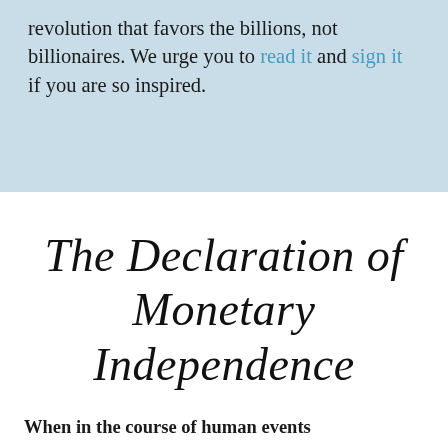revolution that favors the billions, not billionaires. We urge you to read it and sign it if you are so inspired.
The Declaration of Monetary Independence
When in the course of human events